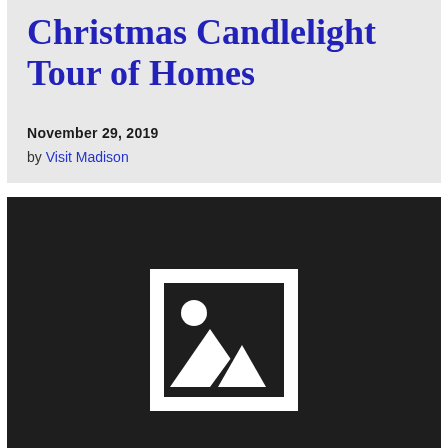Christmas Candlelight Tour of Homes
November 29, 2019
by Visit Madison
[Figure (photo): Dark placeholder image with a white-bordered image icon showing mountains and sun, centered on a near-black background. A small upward arrow is visible at the bottom center.]